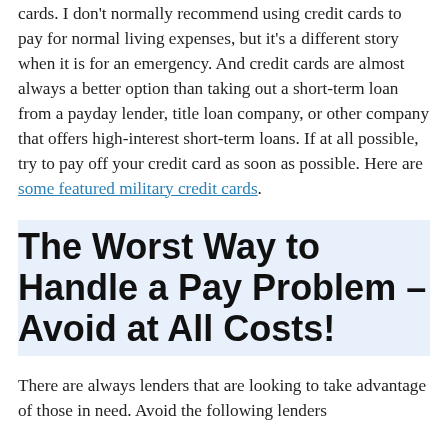cards. I don't normally recommend using credit cards to pay for normal living expenses, but it's a different story when it is for an emergency. And credit cards are almost always a better option than taking out a short-term loan from a payday lender, title loan company, or other company that offers high-interest short-term loans. If at all possible, try to pay off your credit card as soon as possible. Here are some featured military credit cards.
The Worst Way to Handle a Pay Problem – Avoid at All Costs!
There are always lenders that are looking to take advantage of those in need. Avoid the following lenders